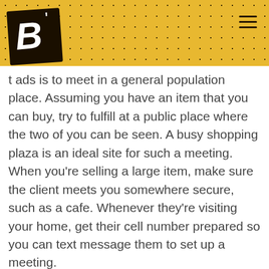[Figure (logo): Handwritten-style logo with letters B and R in a dark brush stroke square, on a yellow speckled banner header with a hamburger menu icon on the right]
t ads is to meet in a general population place. Assuming you have an item that you can buy, try to fulfill at a public place where the two of you can be seen. A busy shopping plaza is an ideal site for such a meeting. When you're selling a large item, make sure the client meets you somewhere secure, such as a cafe. Whenever they're visiting your home, get their cell number prepared so you can text message them to set up a meeting.
Poster le commentaire
Votre adresse e-mail ne sera pas publiée. Les